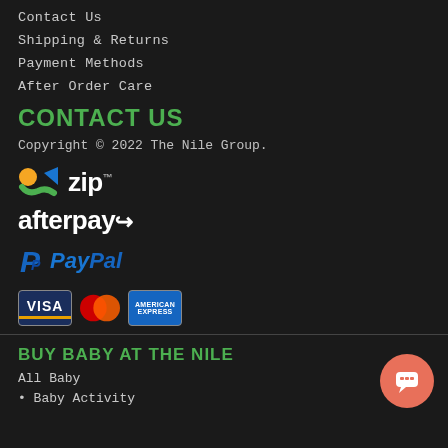Contact Us
Shipping & Returns
Payment Methods
After Order Care
CONTACT US
Copyright © 2022 The Nile Group.
[Figure (logo): Zip payment logo with orange/green/blue chevron icon and 'zip' text in white]
[Figure (logo): Afterpay logo in white bold text with curved arrow icon]
[Figure (logo): PayPal logo with blue P icon and blue/dark blue italic PayPal text]
[Figure (logo): Payment method logos: Visa card, Mastercard, American Express]
BUY BABY AT THE NILE
All Baby
Baby Activity